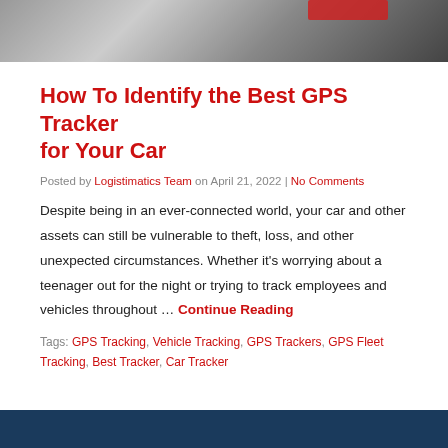[Figure (photo): Top portion of a car photo, showing dark vehicle rear with road markings, cropped at top of page]
How To Identify the Best GPS Tracker for Your Car
Posted by Logistimatics Team on April 21, 2022 | No Comments
Despite being in an ever-connected world, your car and other assets can still be vulnerable to theft, loss, and other unexpected circumstances. Whether it's worrying about a teenager out for the night or trying to track employees and vehicles throughout … Continue Reading
Tags: GPS Tracking, Vehicle Tracking, GPS Trackers, GPS Fleet Tracking, Best Tracker, Car Tracker
[Figure (photo): Bottom portion of page showing dark navy blue background, bottom of another article image]